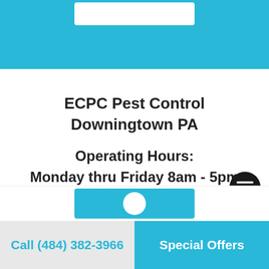[Figure (logo): White logo box on teal/cyan header bar at top of page]
ECPC Pest Control
Downingtown PA
Operating Hours:
Monday thru Friday 8am - 5pm
Downingtown Office
(484) 382-3966
[Figure (logo): Partial ECPC logo visible at bottom of main content area]
Call (484) 382-3966    Special Offers